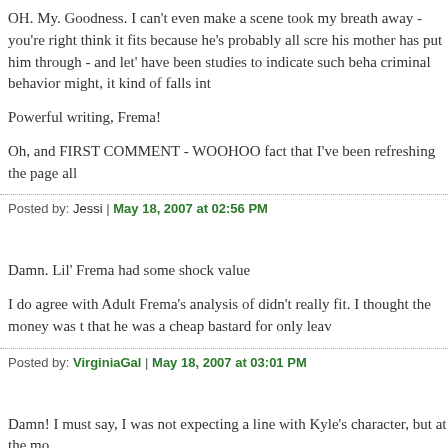OH. My. Goodness. I can't even make a scene took my breath away - you're right think it fits because he's probably all scre his mother has put him through - and let' have been studies to indicate such beha criminal behavior might, it kind of falls int
Powerful writing, Frema!
Oh, and FIRST COMMENT - WOOHOO fact that I've been refreshing the page all
Posted by: Jessi | May 18, 2007 at 02:56 PM
Damn. Lil' Frema had some shock value
I do agree with Adult Frema's analysis of didn't really fit. I thought the money was t that he was a cheap bastard for only leav
Posted by: VirginiaGal | May 18, 2007 at 03:01 PM
Damn! I must say, I was not expecting a line with Kyle's character, but at the mo